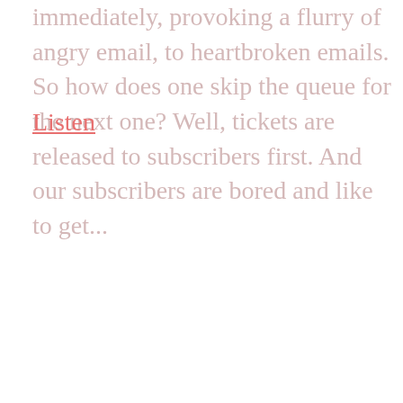immediately, provoking a flurry of angry email, to heartbroken emails. So how does one skip the queue for the next one? Well, tickets are released to subscribers first. And our subscribers are bored and like to get...
Listen